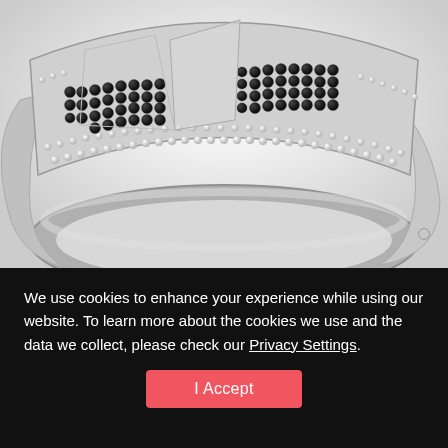[Figure (photo): Close-up photo of a silver ring with black and white crystal/diamond star pattern pavé setting on a white background]
We use cookies to enhance your experience while using our website. To learn more about the cookies we use and the data we collect, please check our Privacy Settings.
I Accept